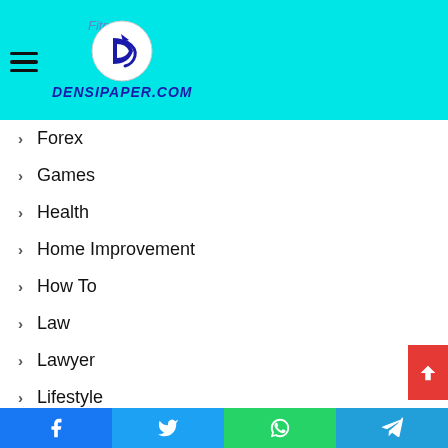DENSIPAPER.COM
Forex
Games
Health
Home Improvement
How To
Law
Lawyer
Lifestyle
Magazine
News
Online Games
Facebook | Twitter | WhatsApp | Telegram